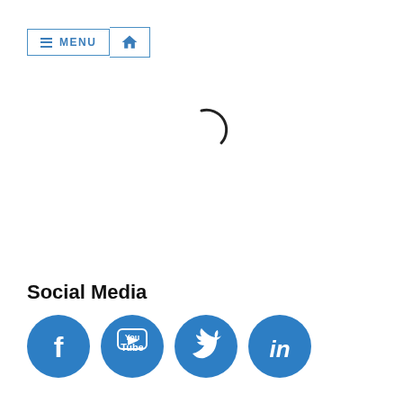≡ MENU 🏠
[Figure (other): Loading spinner partial arc visible in center of page]
Social Media
[Figure (infographic): Four social media circular icon buttons: Facebook, YouTube, Twitter, LinkedIn]